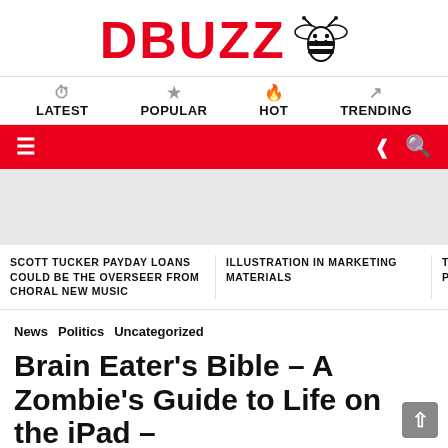DBUZZ [bee logo]
[Figure (logo): DBuzz logo with red bold text DBUZZ and a black bee icon to the right]
LATEST  POPULAR  HOT  TRENDING
[Figure (screenshot): Red toolbar with hamburger menu on left and share/search icons on right]
[Figure (infographic): Light gray advertisement/banner slot]
SCOTT TUCKER PAYDAY LOANS COULD BE THE OVERSEER FROM CHORAL NEW MUSIC
ILLUSTRATION IN MARKETING MATERIALS
THE REAS YOUR OW A PRINTED
News  Politics  Uncategorized
Brain Eater’s Bible – A Zombie’s Guide to Life on the iPad –